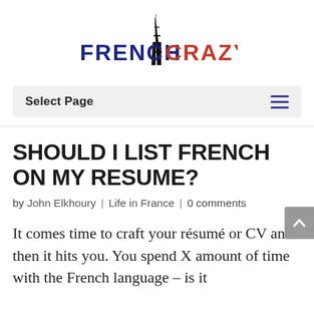FRENCH CRAZY
Select Page
SHOULD I LIST FRENCH ON MY RESUME?
by John Elkhoury | Life in France | 0 comments
It comes time to craft your résumé or CV and then it hits you. You spend X amount of time with the French language – is it